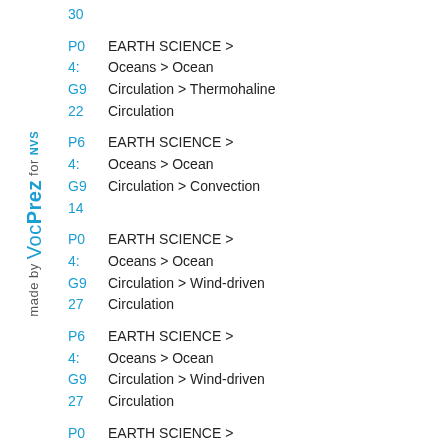[Figure (other): Vertical sidebar text reading 'made by VocPrez for NVS']
30 | EARTH SCIENCE > Oceans > Ocean Circulation > Thermohaline Circulation (P04:G9:22)
P6 4: G9 14 | EARTH SCIENCE > Oceans > Ocean Circulation > Convection
P0 4: G9 27 | EARTH SCIENCE > Oceans > Ocean Circulation > Wind-driven Circulation
P6 4: G9 27 | EARTH SCIENCE > Oceans > Ocean Circulation > Wind-driven Circulation
P0 4: G9 | EARTH SCIENCE > Oceans > Ocean Circulation > Buoy Position